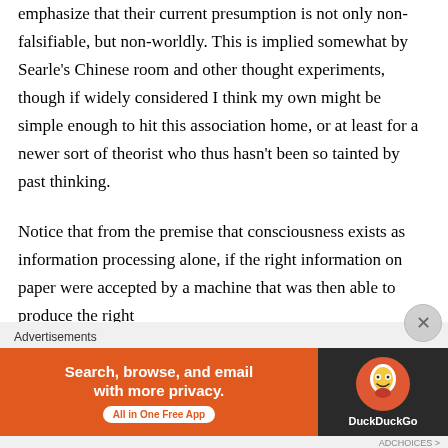emphasize that their current presumption is not only non-falsifiable, but non-worldly. This is implied somewhat by Searle's Chinese room and other thought experiments, though if widely considered I think my own might be simple enough to hit this association home, or at least for a newer sort of theorist who thus hasn't been so tainted by past thinking.
Notice that from the premise that consciousness exists as information processing alone, if the right information on paper were accepted by a machine that was then able to produce the right
Advertisements
[Figure (other): DuckDuckGo advertisement banner: orange background with text 'Search, browse, and email with more privacy. All in One Free App' and DuckDuckGo logo on dark background]